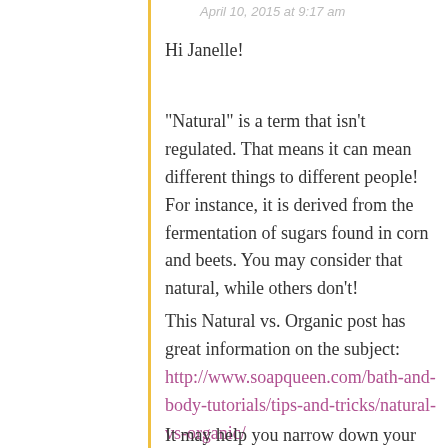April 10, 2015 at 9:17 am
Hi Janelle!
“Natural” is a term that isn’t regulated. That means it can mean different things to different people! For instance, it is derived from the fermentation of sugars found in corn and beets. You may consider that natural, while others don’t!
This Natural vs. Organic post has great information on the subject: http://www.soapqueen.com/bath-and-body-tutorials/tips-and-tricks/natural-vs-organic/
It may help you narrow down your